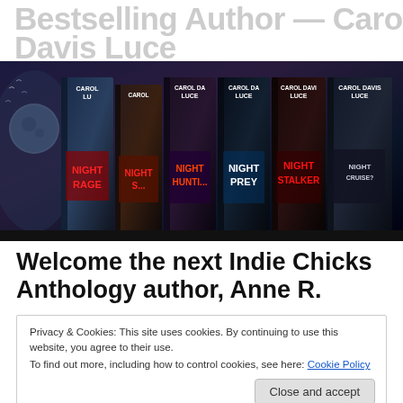Bestselling Author — Carol Davis Luce
[Figure (photo): Banner image showing six thriller novels by Carol Davis Luce (Night Rage, Night Striker, Night Hunter, Night Prey, Night Stalker, and another title) arranged as standing books against a dark moody background with moon and birds.]
Welcome the next Indie Chicks Anthology author, Anne R.
Privacy & Cookies: This site uses cookies. By continuing to use this website, you agree to their use.
To find out more, including how to control cookies, see here: Cookie Policy
Close and accept